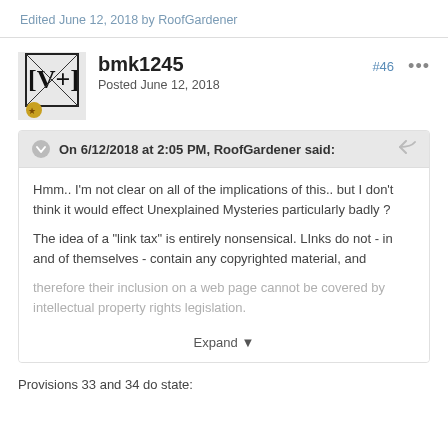Edited June 12, 2018 by RoofGardener
bmk1245
Posted June 12, 2018
#46
On 6/12/2018 at 2:05 PM, RoofGardener said:
Hmm.. I'm not clear on all of the implications of this.. but I don't think it would effect Unexplained Mysteries particularly badly ?

The idea of a "link tax" is entirely nonsensical. LInks do not - in and of themselves - contain any copyrighted material, and therefore their inclusion on a web page cannot be covered by intellectual property rights legislation.

Expand
Provisions 33 and 34 do state: